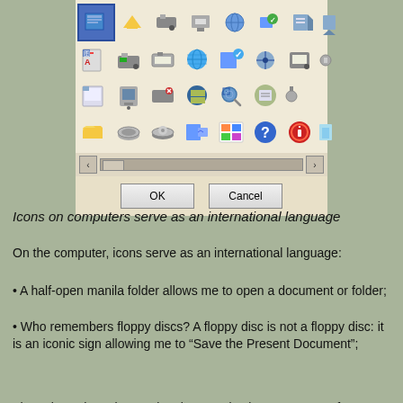[Figure (screenshot): A Windows dialog box showing an icon picker grid with rows of computer icons (folders, printers, network devices, globes, etc.), a horizontal scrollbar at the bottom, and OK/Cancel buttons below.]
Icons on computers serve as an international language
On the computer, icons serve as an international language:
• A half-open manila folder allows me to open a document or folder;
• Who remembers floppy discs? A floppy disc is not a floppy disc: it is an iconic sign allowing me to “Save the Present Document”;
These icons have international use and value. A new set of